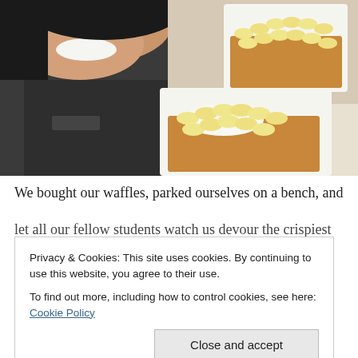[Figure (photo): A smiling person holding white boxes containing waffles topped with banana slices, whipped cream, and caramel sauce. Two boxes of waffles are visible.]
We bought our waffles, parked ourselves on a bench, and let all our fellow students watch us devour the crispiest
Privacy & Cookies: This site uses cookies. By continuing to use this website, you agree to their use.
To find out more, including how to control cookies, see here: Cookie Policy